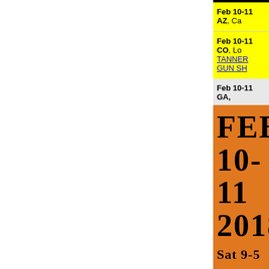Feb 10-11 AZ, Ca
Feb 10-11 CO, Lo TANNER GUN SH
Feb 10-11 GA,
[Figure (infographic): Orange box with large text: FEB 10-11 2018, Sat 9-5, Sun 10-4]
Feb 10-11 GA Free. Contact:
[Figure (infographic): Green box with Saturday text diagonally]